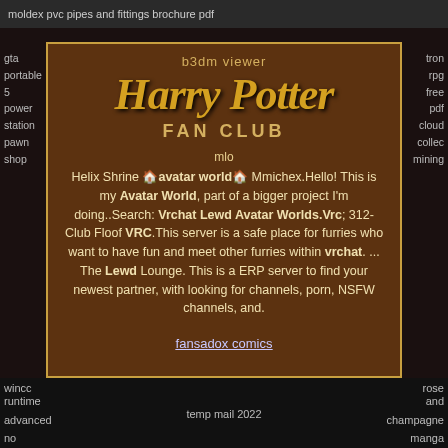moldex pvc pipes and fittings brochure pdf
b3dm viewer
Harry Potter FAN CLUB
mlo
Helix Shrine 🏠avatar world🏠 Mmichex.Hello! This is my Avatar World, part of a bigger project I'm doing..Search: Vrchat Lewd Avatar Worlds.Vrc; 312-Club Floof VRC.This server is a safe place for furries who want to have fun and meet other furries within vrchat. ... The Lewd Lounge. This is a ERP server to find your newest partner, with looking for channels, porn, NSFW channels, and.
fansadox comics
gta portable 5 power station pawn shop
tron rpg free pdf cloud mining collec
wincc
rose and champagne manga
runtime advanced no
temp mail 2022